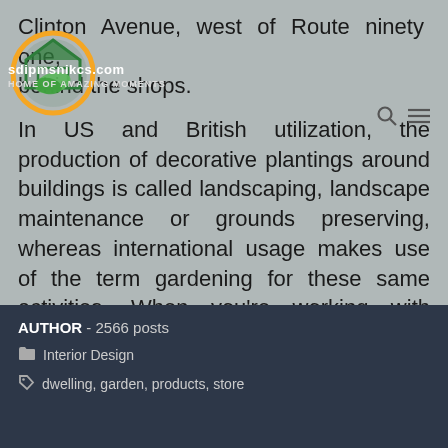Clinton Avenue, west of Route ninety one, behind the shops.
In US and British utilization, the production of decorative plantings around buildings is called landscaping, landscape maintenance or grounds preserving, whereas international usage makes use of the term gardening for these same activities. When you're working with limited area (like me), you then'll want to contemplate two options: container gardening, and vertical gardening.
[Figure (logo): Circular logo with orange ring, green house silhouette and green leaf, with watermark text 'sdipmsnikcs.com' and 'HOME OF AMAZING MOMENTS']
AUTHOR - 2566 posts
Interior Design
dwelling, garden, products, store